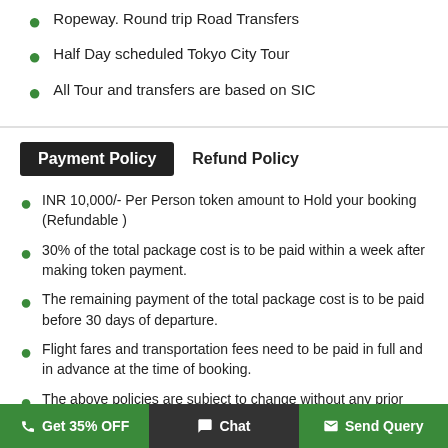Ropeway. Round trip Road Transfers
Half Day scheduled Tokyo City Tour
All Tour and transfers are based on SIC
Payment Policy   Refund Policy
INR 10,000/- Per Person token amount to Hold your booking (Refundable )
30% of the total package cost is to be paid within a week after making token payment.
The remaining payment of the total package cost is to be paid before 30 days of departure.
Flight fares and transportation fees need to be paid in full and in advance at the time of booking.
The above policies are subject to change without any prior notice and you will get the final policies from your
Get 35% OFF   Chat   Send Query